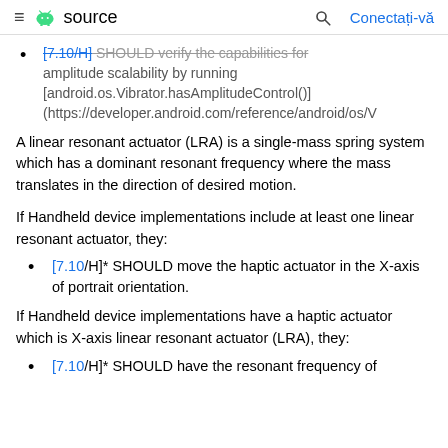≡  source   🔍   Conectați-vă
[7.10/H]* SHOULD verify the capabilities for amplitude scalability by running [android.os.Vibrator.hasAmplitudeControl()] (https://developer.android.com/reference/android/os/V
A linear resonant actuator (LRA) is a single-mass spring system which has a dominant resonant frequency where the mass translates in the direction of desired motion.
If Handheld device implementations include at least one linear resonant actuator, they:
[7.10/H]* SHOULD move the haptic actuator in the X-axis of portrait orientation.
If Handheld device implementations have a haptic actuator which is X-axis linear resonant actuator (LRA), they:
[7.10/H]* SHOULD have the resonant frequency of